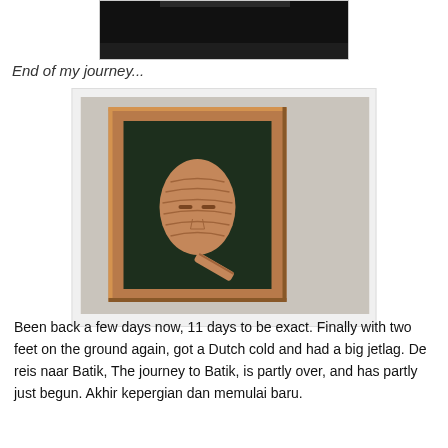[Figure (photo): Top portion of a photo showing a dark/black background, partially cropped at the top of the page]
End of my journey...
[Figure (photo): A wooden framed artwork mounted on a white wall. Inside the dark-background frame is a carved wooden mask (face) with a handle/stick extending from the bottom right.]
Been back a few days now, 11 days to be exact. Finally with two feet on the ground again, got a Dutch cold and had a big jetlag. De reis naar Batik, The journey to Batik, is partly over, and has partly just begun. Akhir kepergian dan memulai baru.